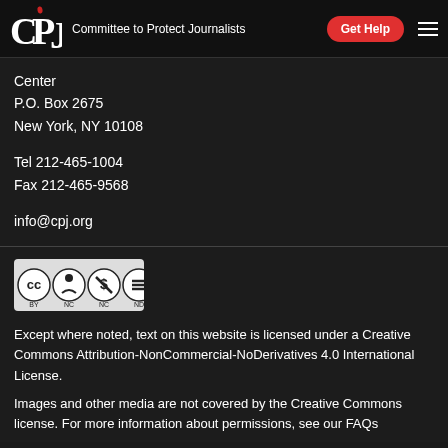CPJ – Committee to Protect Journalists | Get Help
Center
P.O. Box 2675
New York, NY 10108
Tel 212-465-1004
Fax 212-465-9568
info@cpj.org
[Figure (logo): Creative Commons Attribution-NonCommercial-NoDerivatives license badge (CC BY NC ND)]
Except where noted, text on this website is licensed under a Creative Commons Attribution-NonCommercial-NoDerivatives 4.0 International License.
Images and other media are not covered by the Creative Commons license. For more information about permissions, see our FAQs